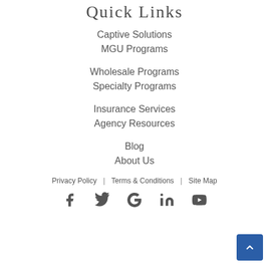Quick Links
Captive Solutions
MGU Programs
Wholesale Programs
Specialty Programs
Insurance Services
Agency Resources
Blog
About Us
Privacy Policy  |  Terms & Conditions  |  Site Map
[Figure (infographic): Social media icons row: Facebook, Twitter, Google, LinkedIn, YouTube. A blue scroll-to-top button with an up-arrow chevron is in the bottom right corner.]